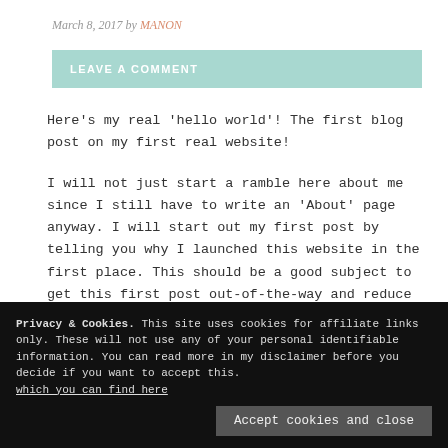March 8, 2017 by MANON
LEAVE A COMMENT
Here's my real 'hello world'! The first blog post on my first real website!
I will not just start a ramble here about me since I still have to write an 'About' page anyway. I will start out my first post by telling you why I launched this website in the first place. This should be a good subject to get this first post out-of-the-way and reduce stress levels :)....
Privacy & Cookies. This site uses cookies for affiliate links only. These will not use any of your personal identifiable information. You can read more in my disclaimer before you decide if you want to accept this. which you can find here